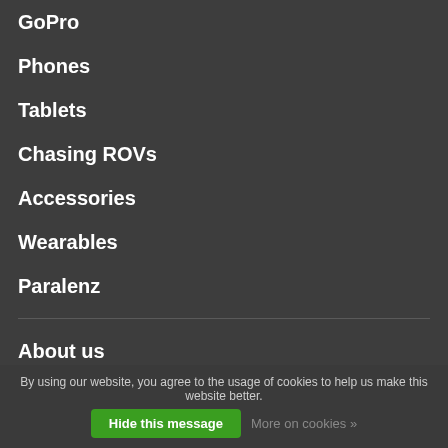GoPro
Phones
Tablets
Chasing ROVs
Accessories
Wearables
Paralenz
About us
General terms & conditions
Disclaimer
By using our website, you agree to the usage of cookies to help us make this website better. Hide this message More on cookies »